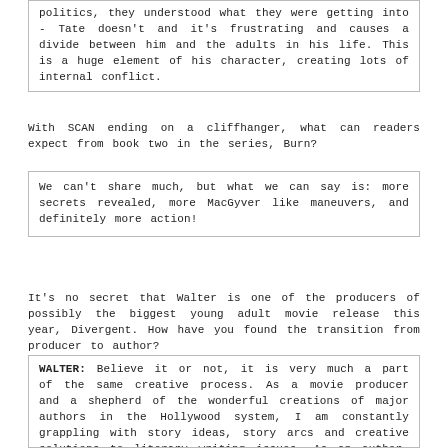politics, they understood what they were getting into - Tate doesn't and it's frustrating and causes a divide between him and the adults in his life. This is a huge element of his character, creating lots of internal conflict.
With SCAN ending on a cliffhanger, what can readers expect from book two in the series, Burn?
We can't share much, but what we can say is: more secrets revealed, more MacGyver like maneuvers, and definitely more action!
It's no secret that Walter is one of the producers of possibly the biggest young adult movie release this year, Divergent. How have you found the transition from producer to author?
WALTER: Believe it or not, it is very much a part of the same creative process. As a movie producer and a shepherd of the wonderful creations of major authors in the Hollywood system, I am constantly grappling with story ideas, story arcs and creative solutions to literary writing issues. As an author, the process is similar, it's just starting from the ground up. So long story short, it really felt like a part of the same day job, and similarly rewarding!!